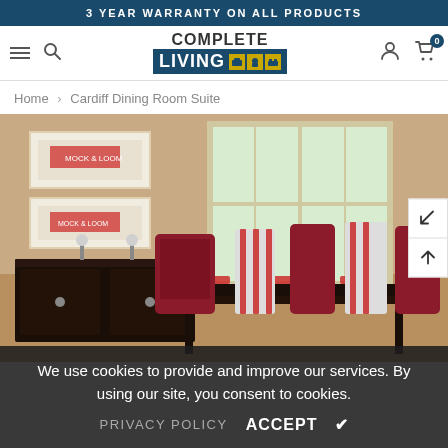3 YEAR WARRANTY ON ALL PRODUCTS
[Figure (logo): Complete Living furniture store logo with navigation icons (hamburger menu, search, user, cart)]
Home > Cardiff Dining Room Suite
[Figure (photo): Cardiff Dining Room Suite product photo showing a dark wood dining table with patterned and striped chairs, a sideboard, wall art, and a bright window in the background]
We use cookies to provide and improve our services. By using our site, you consent to cookies.
PRIVACY POLICY  ACCEPT ✔